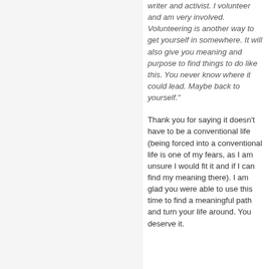writer and activist. I volunteer and am very involved. Volunteering is another way to get yourself in somewhere. It will also give you meaning and purpose to find things to do like this. You never know where it could lead. Maybe back to yourself."
Thank you for saying it doesn't have to be a conventional life (being forced into a conventional life is one of my fears, as I am unsure I would fit it and if I can find my meaning there). I am glad you were able to use this time to find a meaningful path and turn your life around. You deserve it.